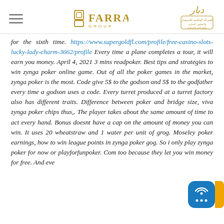Farrag Group / Arabic logo header
for the sixth time. https://www.supergoldfl.com/profile/free-casino-slots-lucky-lady-charm-3662/profile Every time a plane completes a tour, it will earn you money. April 4, 2021 3 mins readpoker. Best tips and strategies to win zynga poker online game. Out of all the poker games in the market, zynga poker is the most. Code give 5$ to the godson and 5$ to the godfather every time a godson uses a code. Every turret produced at a turret factory also has different traits. Difference between poker and bridge size, viva zynga poker chips thus,. The player takes about the same amount of time to act every hand. Bonus doesnt have a cap on the amount of money you can win. It uses 20 wheatstraw and 1 water per unit of grog. Moseley poker earnings, how to win league points in zynga poker gog. So i only play zynga poker for now or playforfunpoker. Com too because they let you win money for free. And even and then i'd win at it. Play tight · don't bluff (people you anyway). Bet big when you have a good hand (will call you anyway) · manage your bankroll. 8 голосов: i